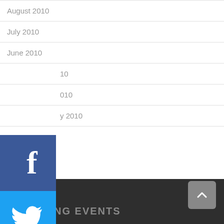August 2010
July 2010
June 2010
[May] 2010
[June] 2010
[February] 2010
[Figure (logo): Facebook social media icon — blue square with white F]
[Figure (logo): Twitter social media icon — sky blue square with white bird]
[Figure (logo): YouTube social media icon — red square with white You Tube text]
[Figure (logo): Flickr social media icon — pink/magenta square with white rounded box and two dots]
SONICS NEWS ARCHIVE
Select Month (dropdown)
UPCOMING EVENTS